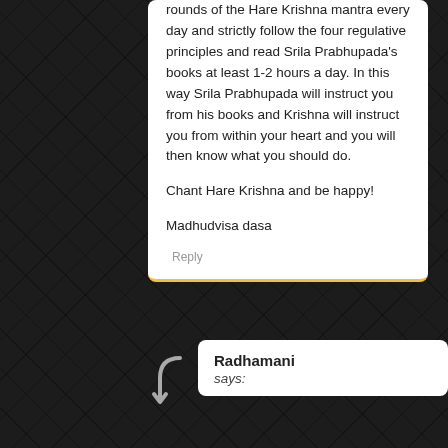rounds of the Hare Krishna mantra every day and strictly follow the four regulative principles and read Srila Prabhupada's books at least 1-2 hours a day. In this way Srila Prabhupada will instruct you from his books and Krishna will instruct you from within your heart and you will then know what you should do.
Chant Hare Krishna and be happy!
Madhudvisa dasa
Reply
Radhamani says: